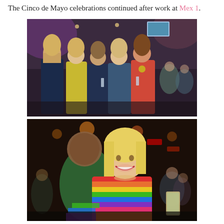The Cinco de Mayo celebrations continued after work at Mex 1.
[Figure (photo): Group of five women smiling and posing together at a bar/restaurant, dimly lit interior with purple lighting, one woman wearing yellow, others in navy, white, and coral outfits.]
[Figure (photo): A smiling blonde woman wearing a colorful rainbow-striped poncho holding a drink at a crowded bar, with a man in a green shirt behind her.]